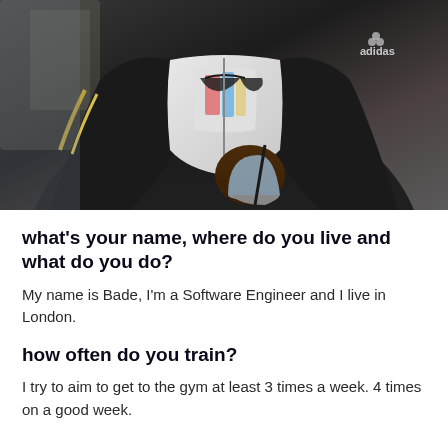[Figure (photo): A person wearing a black Adidas jacket with gold stripes, holding a drink with a straw. They have sunglasses hanging from their collar and are wearing a graphic t-shirt underneath.]
what's your name, where do you live and what do you do?
My name is Bade, I'm a Software Engineer and I live in London.
how often do you train?
I try to aim to get to the gym at least 3 times a week. 4 times on a good week.